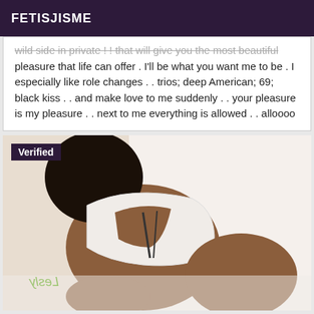FETISJISME
wild side in private ! ! that will give you the most beautiful pleasure that life can offer . I'll be what you want me to be . I especially like role changes . . trios; deep American; 69; black kiss . . and make love to me suddenly . . your pleasure is my pleasure . . next to me everything is allowed . . alloooo
[Figure (photo): Photo of a person in white lingerie on white bedding, with a 'Verified' badge overlay in the top-left corner]